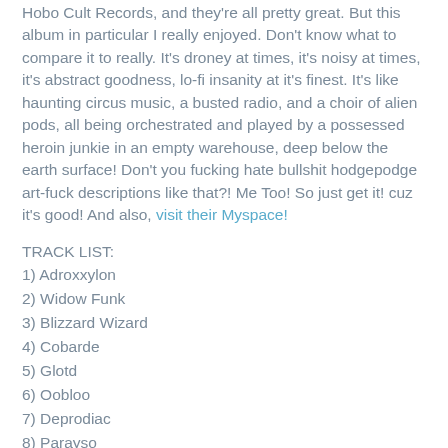Hobo Cult Records, and they're all pretty great. But this album in particular I really enjoyed. Don't know what to compare it to really. It's droney at times, it's noisy at times, it's abstract goodness, lo-fi insanity at it's finest. It's like haunting circus music, a busted radio, and a choir of alien pods, all being orchestrated and played by a possessed heroin junkie in an empty warehouse, deep below the earth surface! Don't you fucking hate bullshit hodgepodge art-fuck descriptions like that?! Me Too! So just get it! cuz it's good! And also, visit their Myspace!
TRACK LIST:
1) Adroxxylon
2) Widow Funk
3) Blizzard Wizard
4) Cobarde
5) Glotd
6) Oobloo
7) Deprodiac
8) Parayso
DOWNLOAD